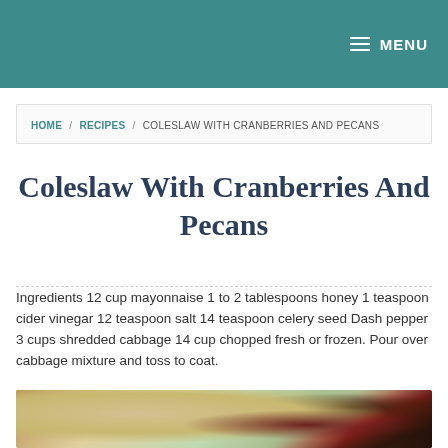MENU
HOME / RECIPES / COLESLAW WITH CRANBERRIES AND PECANS
Coleslaw With Cranberries And Pecans
Ingredients 12 cup mayonnaise 1 to 2 tablespoons honey 1 teaspoon cider vinegar 12 teaspoon salt 14 teaspoon celery seed Dash pepper 3 cups shredded cabbage 14 cup chopped fresh or frozen. Pour over cabbage mixture and toss to coat.
[Figure (photo): Photo of coleslaw with cranberries and pecans in a bowl, showing shredded cabbage with dark cranberries and other ingredients]